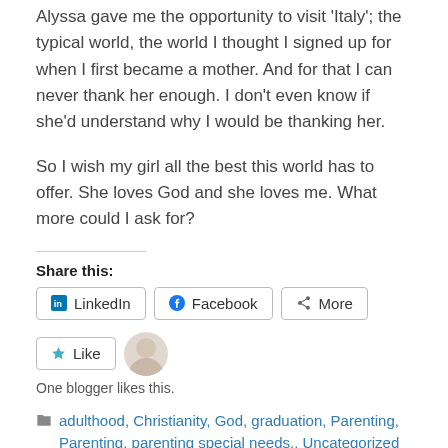Alyssa gave me the opportunity to visit 'Italy'; the typical world, the world I thought I signed up for when I first became a mother. And for that I can never thank her enough. I don't even know if she'd understand why I would be thanking her.
So I wish my girl all the best this world has to offer. She loves God and she loves me. What more could I ask for?
Share this:
LinkedIn  Facebook  More
Like
One blogger likes this.
adulthood, Christianity, God, graduation, Parenting, Parenting, parenting special needs., Uncategorized
Christianity, God, graduation, parenting, parenting special needs